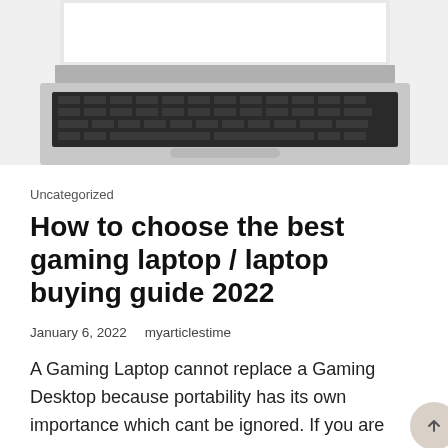[Figure (photo): Black and white photo of the top portion of a laptop showing the keyboard and screen area from above, with the screen partially visible at top.]
Uncategorized
How to choose the best gaming laptop / laptop buying guide 2022
January 6, 2022    myarticlestime
A Gaming Laptop cannot replace a Gaming Desktop because portability has its own importance which cant be ignored. If you are